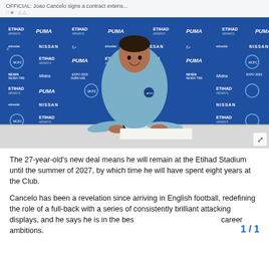OFFICIAL: Joao Cancelo signs a contract extens...
[Figure (photo): Joao Cancelo sitting at a signing table in a Manchester City hoodie, smiling, pen in hand, against a blue sponsor backdrop featuring Etihad Airways, Puma, Nissan, etisalat, Midea, Nexen Tire, Expo 2020 Dubai UAE logos]
The 27-year-old's new deal means he will remain at the Etihad Stadium until the summer of 2027, by which time he will have spent eight years at the Club.
Cancelo has been a revelation since arriving in English football, redefining the role of a full-back with a series of consistently brilliant attacking displays, and he says he is in the bes career ambitions.
1 / 1